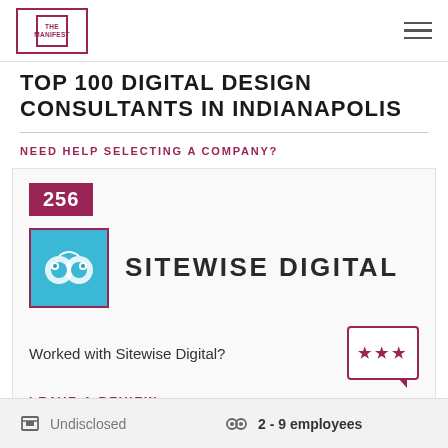THE MANIFEST
TOP 100 DIGITAL DESIGN CONSULTANTS IN INDIANAPOLIS
NEED HELP SELECTING A COMPANY?
256
[Figure (logo): Sitewise Digital company logo — blue rounded square background with white owl-like circular design]
SITEWISE DIGITAL
Worked with Sitewise Digital?
LEAVE A REVIEW >
Undisclosed
2 - 9 employees